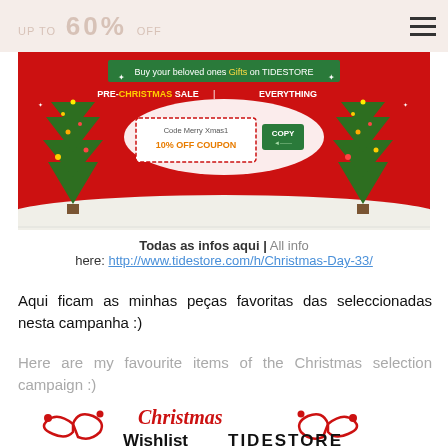UP TO 60% OFF
[Figure (illustration): Christmas promotional banner for TIDESTORE with red background, two decorated Christmas trees, snow scene, and a 10% OFF coupon code 'Merry Xmas1'. Text reads: Buy your beloved ones Gifts on TIDESTORE, PRE-CHRISTMAS SALE | EVERYTHING. Code Merry Xmas1, 10% OFF COUPON, COPY button.]
Todas as infos aqui | All info here: http://www.tidestore.com/h/Christmas-Day-33/
Aqui ficam as minhas peças favoritas das seleccionadas nesta campanha :)
Here are my favourite items of the Christmas selection campaign :)
[Figure (logo): Christmas Wishlist TIDESTORE logo with red cursive Christmas text, ribbon/heart decorations, and bold Wishlist TIDESTORE text]